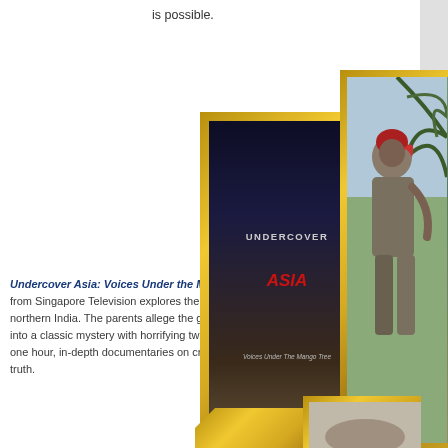is possible.
[Figure (photo): Book cover for 'Undercover Asia: Voices Under the Mango Tree' overlapping with a photo of a person wearing a red headscarf, shown in profile against a sky with trees, framed in gold borders. Below are partial gold-framed images.]
Undercover Asia: Voices Under the Mango Tree, Mayurica Bisw... from Singapore Television explores the horrific find of wwo teenage... northern India. The parents allege the girls were raped and murder... into a classic mystery with horrifying twists. Undercover Asia, a seri... one hour, in-depth documentaries on crime and injustice, travels de... truth.